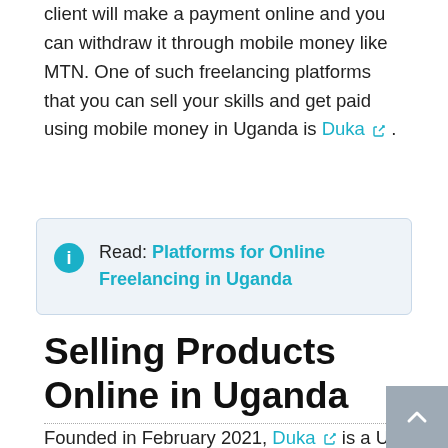client will make a payment online and you can withdraw it through mobile money like MTN. One of such freelancing platforms that you can sell your skills and get paid using mobile money in Uganda is Duka.
Read: Platforms for Online Freelancing in Uganda
Selling Products Online in Uganda
Founded in February 2021, Duka is a Ugandan